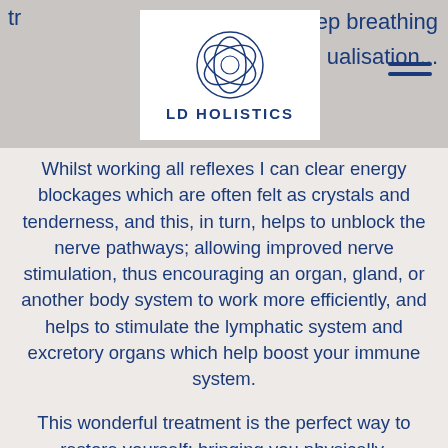[Figure (logo): LD HOLISTICS logo with geometric flower/sphere design inside a white box overlaid on a grey banner]
tr... me deep breathing ...ualisation...
Whilst working all reflexes I can clear energy blockages which are often felt as crystals and tenderness, and this, in turn, helps to unblock the nerve pathways; allowing improved nerve stimulation, thus encouraging an organ, gland, or another body system to work more efficiently, and helps to stimulate the lymphatic system and excretory organs which help boost your immune system.
This wonderful treatment is the perfect way to restore yourself; bringing you physically, emotionally, and spiritually back into balance.